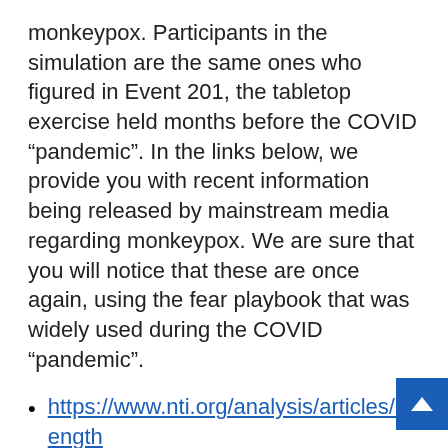monkeypox. Participants in the simulation are the same ones who figured in Event 201, the tabletop exercise held months before the COVID “pandemic”. In the links below, we provide you with recent information being released by mainstream media regarding monkeypox. We are sure that you will notice that these are once again, using the fear playbook that was widely used during the COVID “pandemic”.
https://www.nti.org/analysis/articles/strength global-systems-to-prevent-and-respond-to-high-consequence-biological-threa
WHO calls for emergency meeting as